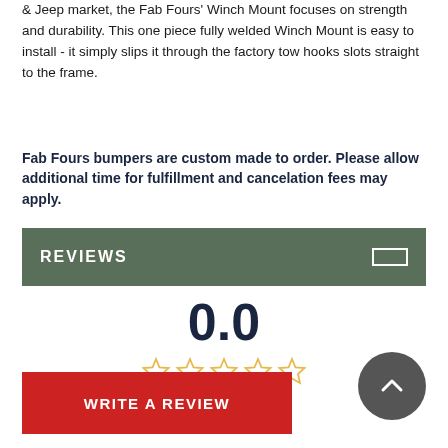& Jeep market, the Fab Fours' Winch Mount focuses on strength and durability. This one piece fully welded Winch Mount is easy to install - it simply slips it through the factory tow hooks slots straight to the frame.
Fab Fours bumpers are custom made to order. Please allow additional time for fulfillment and cancelation fees may apply.
REVIEWS
0.0
[Figure (other): 5 empty star rating icons in gold/yellow outline]
0 Customer ratings
[Figure (other): Back to top circular button with upward chevron arrow]
WRITE A REVIEW